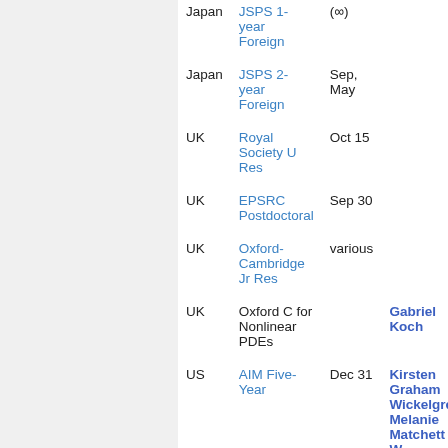| Country | Grant | Date | Person |
| --- | --- | --- | --- |
| Japan | JSPS 1-year Foreign | (∞) |  |
| Japan | JSPS 2-year Foreign | Sep, May |  |
| UK | Royal Society U Res | Oct 15 |  |
| UK | EPSRC Postdoctoral | Sep 30 |  |
| UK | Oxford-Cambridge Jr Res | various |  |
| UK | Oxford C for Nonlinear PDEs |  | Gabriel Koch |
| US | AIM Five-Year | Dec 31 | Kirsten Graham Wickelgren, Melanie Matchett W... |